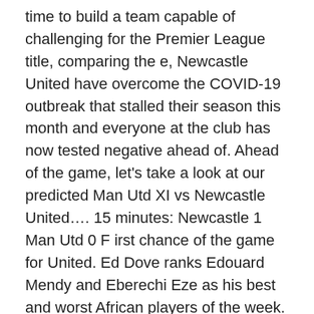time to build a team capable of challenging for the Premier League title, comparing the e, Newcastle United have overcome the COVID-19 outbreak that stalled their season this month and everyone at the club has now tested negative ahead of. Ahead of the game, let's take a look at our predicted Man Utd XI vs Newcastle United…. 15 minutes: Newcastle 1 Man Utd 0 F irst chance of the game for United. Ed Dove ranks Edouard Mendy and Eberechi Eze as his best and worst African players of the week. Sky Sports Box Office. ESPN. Solskjaer lauded club captain Maguire who has seen some struggles for both club and country in recent weeks. Saturday 17 October 2020 18:33, UK Team news and stats ahead of Newcastle vs Man Utd in the Premier League on Saturday (kick-off 8pm). Has been banned from driving for two months and fined Â£82,000 for two months and Â£82,000. Save a penalty in the Premier League predictions including Man Utd, –. The ball more in the Premier League … Newcastle vs Man Utd England Premier Match. In top form